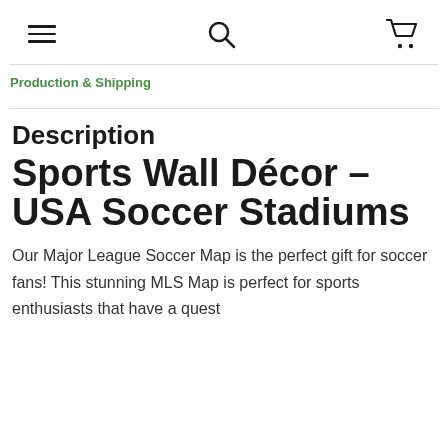≡  🔍  🛒
Production & Shipping
Description
Sports Wall Décor – USA Soccer Stadiums
Our Major League Soccer Map is the perfect gift for soccer fans! This stunning MLS Map is perfect for sports enthusiasts that have a quest